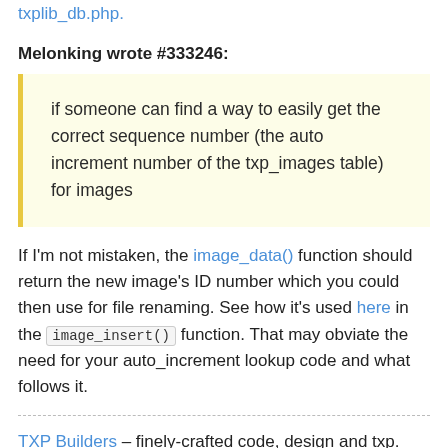txplib_db.php.
Melonking wrote #333246:
if someone can find a way to easily get the correct sequence number (the auto increment number of the txp_images table) for images
If I'm not mistaken, the image_data() function should return the new image's ID number which you could then use for file renaming. See how it's used here in the image_insert() function. That may obviate the need for your auto_increment lookup code and what follows it.
TXP Builders – finely-crafted code, design and txp.